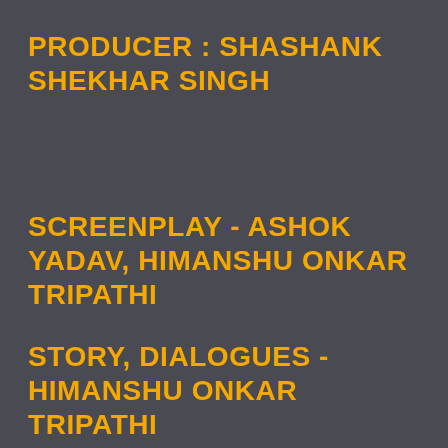PRODUCER : SHASHANK SHEKHAR SINGH
SCREENPLAY - ASHOK YADAV, HIMANSHU ONKAR TRIPATHI
STORY, DIALOGUES - HIMANSHU ONKAR TRIPATHI